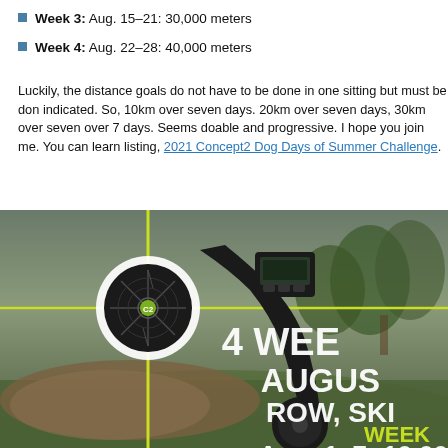Week 3: Aug. 15–21: 30,000 meters
Week 4: Aug. 22–28: 40,000 meters
Luckily, the distance goals do not have to be done in one sitting but must be done within the week indicated. So, 10km over seven days. 20km over seven days, 30km over seven days, and 40km over 7 days. Seems doable and progressive. I hope you join me. You can learn more from this event listing, 2021 Concept2 Dog Days of Summer Challenge.
[Figure (photo): Concept2 rowing machine outdoors on grass with text overlay: 4 WEEK AUGUST ROW, SKI O... WEEK ... Aug. 1-7: 10,00...]